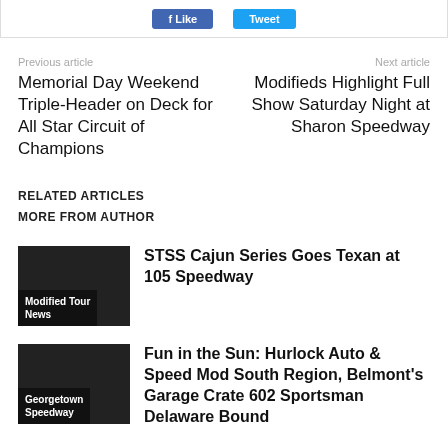[Figure (screenshot): Social share buttons (Facebook blue button and Twitter blue button) at top of page]
Previous article
Next article
Memorial Day Weekend Triple-Header on Deck for All Star Circuit of Champions
Modifieds Highlight Full Show Saturday Night at Sharon Speedway
RELATED ARTICLES
MORE FROM AUTHOR
STSS Cajun Series Goes Texan at 105 Speedway
Modified Tour News
Fun in the Sun: Hurlock Auto & Speed Mod South Region, Belmont's Garage Crate 602 Sportsman Delaware Bound
Georgetown Speedway